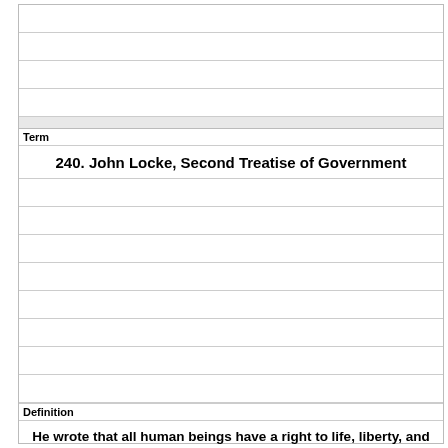Term
240. John Locke, Second Treatise of Government
Definition
He wrote that all human beings have a right to life, liberty, and property and that governments exist to protect those rights. He believed that a contract existed between a government and its people, and if the government failed to uphold its end of the contract, the people could rebel and